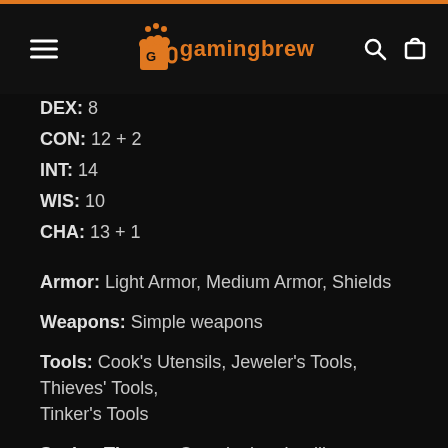gamingbrew
DEX: 8
CON: 12 + 2
INT: 14
WIS: 10
CHA: 13 + 1
Armor: Light Armor, Medium Armor, Shields
Weapons: Simple weapons
Tools: Cook's Utensils, Jeweler's Tools, Thieves' Tools, Tinker's Tools
Saving Throws: Constitution, Intelligence